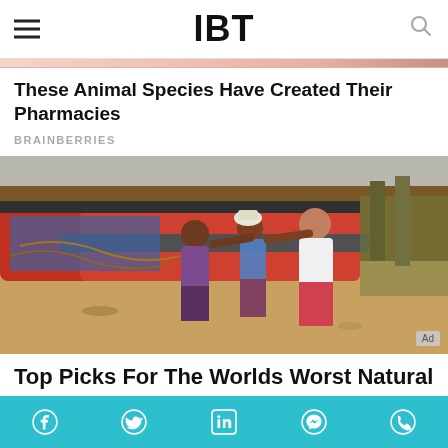IBT
These Animal Species Have Created Their Pharmacies
BRAINBERRIES
[Figure (photo): People pushing a boat on a sandy beach/shore, with other boats visible in the background. An 'Ad' badge is visible in the bottom right corner.]
Top Picks For The Worlds Worst Natural
Social share bar with Facebook, Twitter, LinkedIn, Messenger, WhatsApp icons